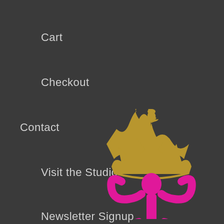Cart
Checkout
Contact
Visit the Studio
Newsletter Signup
[Figure (logo): A decorative logo featuring a gold crown with a fleur-de-lis on top, above a pink/magenta ornate fleur-de-lis or stylized letter T monogram.]